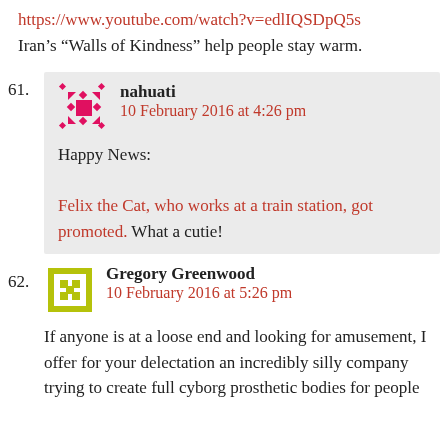https://www.youtube.com/watch?v=edlIQSDpQ5s
Iran’s “Walls of Kindness” help people stay warm.
61. nahuati
10 February 2016 at 4:26 pm
Happy News:
Felix the Cat, who works at a train station, got promoted. What a cutie!
62. Gregory Greenwood
10 February 2016 at 5:26 pm
If anyone is at a loose end and looking for amusement, I offer for your delectation an incredibly silly company trying to create full cyborg prosthetic bodies for people